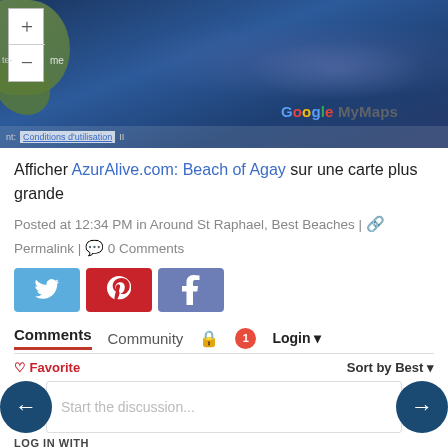[Figure (map): Google MyMaps screenshot showing a satellite/terrain map with coastline, zoom controls (+/-), and 'Google MyMaps' branding. Bottom bar shows 'Conditions d'utilisation'.]
Afficher AzurAlive.com: Beach of Agay sur une carte plus grande
Posted at 12:34 PM in Around St Raphael, Best Beaches | 🔗 Permalink | 💬 0 Comments
[Figure (infographic): Three social share buttons: Twitter (blue bird icon), Pinterest (red P icon), Facebook (blue-gray f icon)]
Comments
Community | 🔒 | 1 | Login ▾
♡ Favorite    Sort by Best ▾
Start the discussion...
LOG IN WITH